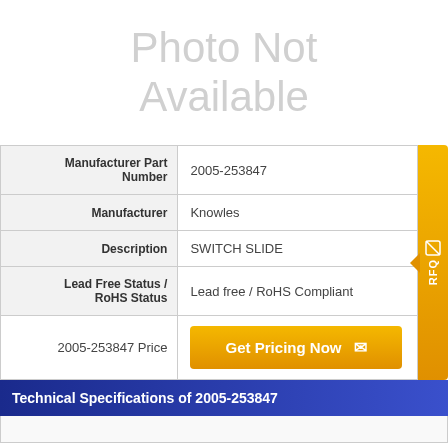[Figure (other): Photo Not Available placeholder image area]
| Field | Value |
| --- | --- |
| Manufacturer Part Number | 2005-253847 |
| Manufacturer | Knowles |
| Description | SWITCH SLIDE |
| Lead Free Status / RoHS Status | Lead free / RoHS Compliant |
| 2005-253847 Price | Get Pricing Now |
Technical Specifications of 2005-253847